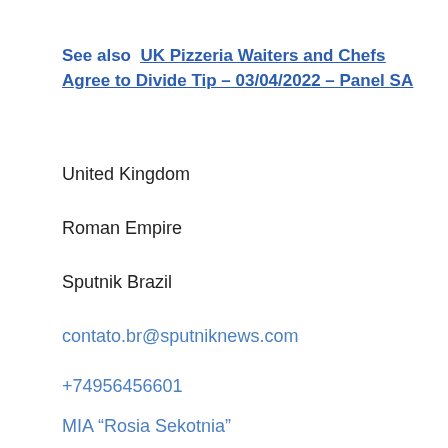See also  UK Pizzeria Waiters and Chefs Agree to Divide Tip – 03/04/2022 – Panel SA
United Kingdom
Roman Empire
Sputnik Brazil
contato.br@sputniknews.com
+74956456601
MIA “Rosia Sekotnia”
2022
Sputnik Brazil